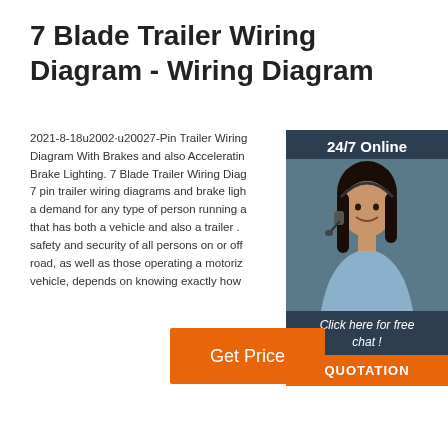7 Blade Trailer Wiring Diagram - Wiring Diagram
2021-8-18u2002·u20027-Pin Trailer Wiring Diagram With Brakes and also Accelerating Brake Lighting. 7 Blade Trailer Wiring Diagram 7 pin trailer wiring diagrams and brake lighting: a demand for any type of person running any type that has both a vehicle and also a trailer . The safety and security of all persons on or off the road, as well as those operating a motorized vehicle, depends on knowing exactly how
[Figure (photo): Customer service representative - woman with headset smiling, with '24/7 Online' label at top and 'Click here for free chat!' and 'QUOTATION' button at bottom, on dark navy background]
Get Price